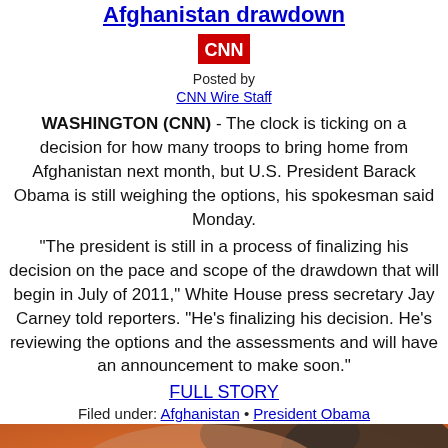Afghanistan drawdown
[Figure (logo): CNN logo - red background with white CNN text]
Posted by
CNN Wire Staff
WASHINGTON (CNN) - The clock is ticking on a decision for how many troops to bring home from Afghanistan next month, but U.S. President Barack Obama is still weighing the options, his spokesman said Monday.
"The president is still in a process of finalizing his decision on the pace and scope of the drawdown that will begin in July of 2011," White House press secretary Jay Carney told reporters. "He's finalizing his decision. He's reviewing the options and the assessments and will have an announcement to make soon."
FULL STORY
Filed under: Afghanistan • President Obama
[Figure (photo): Close-up photo of a man's face, cropped showing forehead and top of head against an orange/warm background]